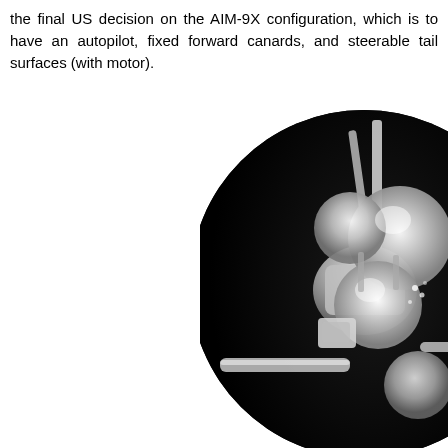the final US decision on the AIM-9X configuration, which is to have an autopilot, fixed forward canards, and steerable tail surfaces (with motor).
[Figure (photo): Black and white infrared or night-vision style photograph showing close-up of missile seeker head components — spherical dome elements, structural fins/canards, and mechanical housing parts against a black background, displayed as a circular cropped image.]